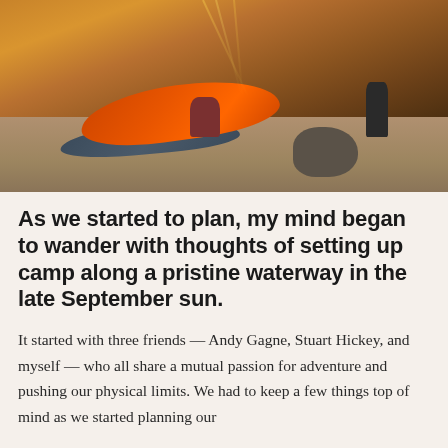[Figure (photo): Outdoor adventure scene showing orange and dark kayaks on a rocky riverbank or shoreline. A person crouches near the kayaks while another stands in the background. Warm golden late-afternoon sunlight illuminates the scene from the upper area.]
As we started to plan, my mind began to wander with thoughts of setting up camp along a pristine waterway in the late September sun.
It started with three friends — Andy Gagne, Stuart Hickey, and myself — who all share a mutual passion for adventure and pushing our physical limits. We had to keep a few things top of mind as we started planning our